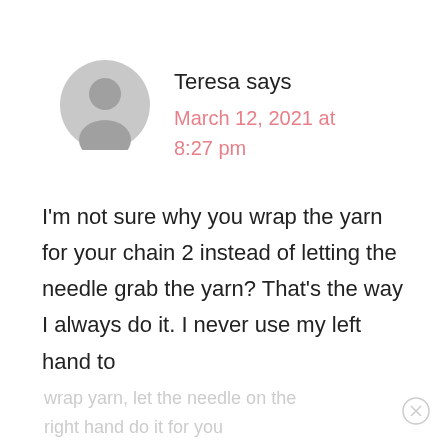[Figure (illustration): Generic grey user avatar silhouette icon]
Teresa says
March 12, 2021 at 8:27 pm
I'm not sure why you wrap the yarn for your chain 2 instead of letting the needle grab the yarn? That's the way I always do it. I never use my left hand to
wrap yarn, let the needle on the right hand do it for you